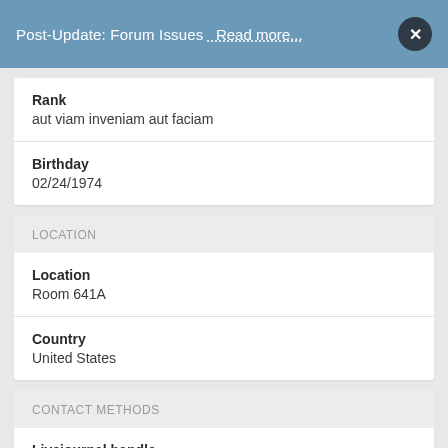Post-Update: Forum Issues   Read more...
Rank
aut viam inveniam aut faciam
Birthday
02/24/1974
LOCATION
Location
Room 641A
Country
United States
CONTACT METHODS
Livejournal handle
kebechet